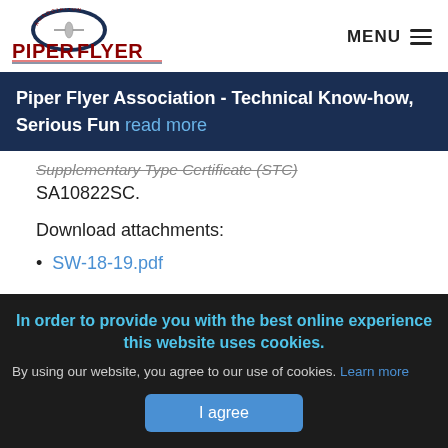Piper Flyer Association | MENU
Piper Flyer Association - Technical Know-how, Serious Fun read more
Supplementary Type Certificate (STC) SA10822SC.
Download attachments:
SW-18-19.pdf
In order to provide you with the best online experience this website uses cookies.
By using our website, you agree to our use of cookies. Learn more
I agree